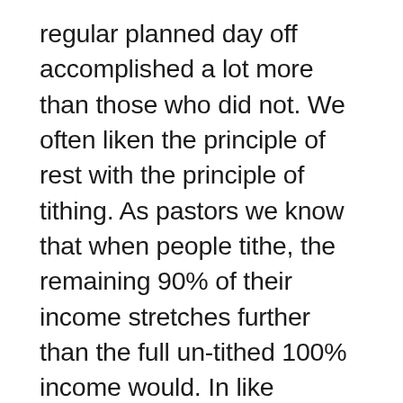regular planned day off accomplished a lot more than those who did not. We often liken the principle of rest with the principle of tithing. As pastors we know that when people tithe, the remaining 90% of their income stretches further than the full un-tithed 100% income would. In like manner, when you commit to taking a day to rest and recharge; then you will accomplish a lot more on the other six days of the week then if you had work all seven. I heard Pastor Robbert Morris mentioned how the fast